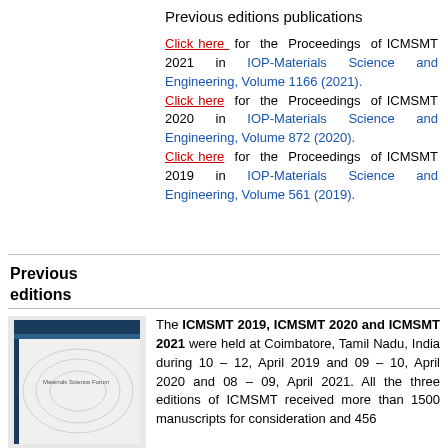Previous editions publications
Click here for the Proceedings of ICMSMT 2021 in IOP-Materials Science and Engineering, Volume 1166 (2021). Click here for the Proceedings of ICMSMT 2020 in IOP-Materials Science and Engineering, Volume 872 (2020). Click here for the Proceedings of ICMSMT 2019 in IOP-Materials Science and Engineering, Volume 561 (2019).
Previous editions
[Figure (photo): Book cover image for Materials Science Forum proceedings]
The ICMSMT 2019, ICMSMT 2020 and ICMSMT 2021 were held at Coimbatore, Tamil Nadu, India during 10 – 12, April 2019 and 09 – 10, April 2020 and 08 – 09, April 2021. All the three editions of ICMSMT received more than 1500 manuscripts for consideration and 456 manuscripts were registered before